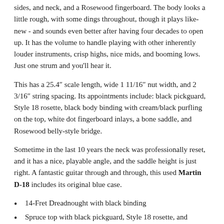sides, and neck, and a Rosewood fingerboard. The body looks a little rough, with some dings throughout, though it plays like-new - and sounds even better after having four decades to open up. It has the volume to handle playing with other inherently louder instruments, crisp highs, nice mids, and booming lows. Just one strum and you'll hear it.
This has a 25.4" scale length, wide 1 11/16" nut width, and 2 3/16" string spacing. Its appointments include: black pickguard, Style 18 rosette, black body binding with cream/black purfling on the top, white dot fingerboard inlays, a bone saddle, and Rosewood belly-style bridge.
Sometime in the last 10 years the neck was professionally reset, and it has a nice, playable angle, and the saddle height is just right. A fantastic guitar through and through, this used Martin D-18 includes its original blue case.
14-Fret Dreadnought with black binding
Spruce top with black pickguard, Style 18 rosette, and cream/black purfling
Mahogany back and sides
25.4" scale length
Mahogany neck